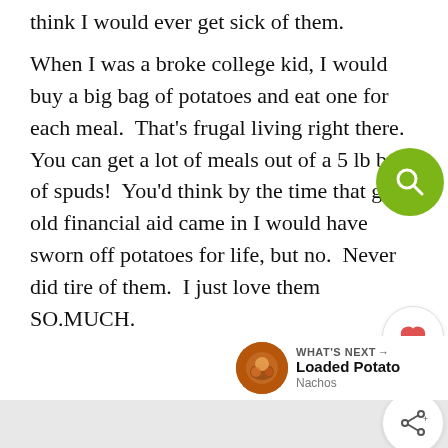think I would ever get sick of them.

When I was a broke college kid, I would buy a big bag of potatoes and eat one for each meal.  That's frugal living right there.  You can get a lot of meals out of a 5 lb bag of spuds!  You'd think by the time that good old financial aid came in I would have sworn off potatoes for life, but no.  Never did tire of them.  I just love them SO.MUCH.
[Figure (screenshot): Green circular search button with magnifying glass icon overlaid on the text]
[Figure (screenshot): White circular heart/favorite button with count of 1 and share button]
[Figure (screenshot): WHAT'S NEXT arrow banner showing Loaded Potato Nachos with thumbnail image]